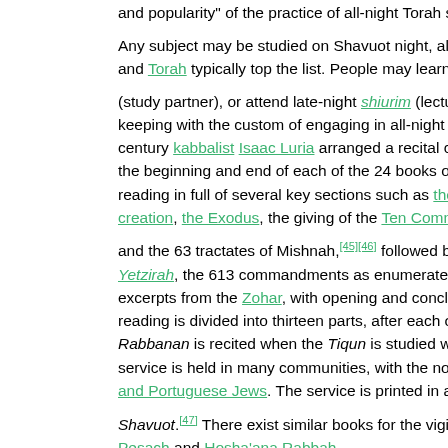and popularity" of the practice of all-night Torah study.[11] Any subject may be studied on Shavuot night, although Ta and Torah typically top the list. People may learn alone or (study partner), or attend late-night shiurim (lectures) and keeping with the custom of engaging in all-night Torah stu century kabbalist Isaac Luria arranged a recital consisting the beginning and end of each of the 24 books of Tanakh reading in full of several key sections such as the account creation, the Exodus, the giving of the Ten Commandmen and the 63 tractates of Mishnah,[45][46] followed by the rea Yetzirah, the 613 commandments as enumerated by Main excerpts from the Zohar, with opening and concluding pra reading is divided into thirteen parts, after each of which a Rabbanan is recited when the Tiqun is studied with a miny service is held in many communities, with the notable exc and Portuguese Jews. The service is printed in a book cal Shavuot.[47] There exist similar books for the vigils before Pesach and Hosha'ana Rabbah. In Jerusalem, at the conclusion of the night time study ses thousands of people walk to the Western Wall to pray with